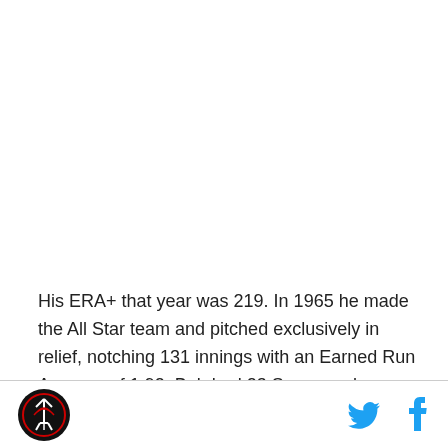His ERA+ that year was 219. In 1965 he made the All Star team and pitched exclusively in relief, notching 131 innings with an Earned Run Average of 1.92. Bob had 23 Saves and an ERA+ of 175 that year. No
[logo] [twitter] [facebook]